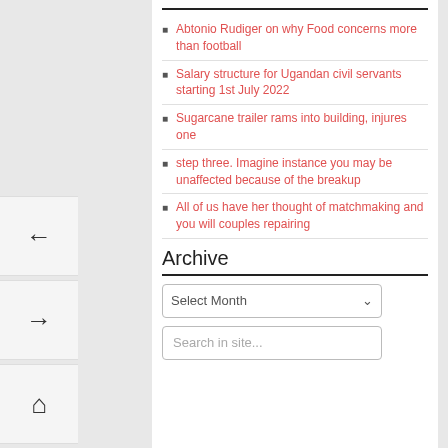Abtonio Rudiger on why Food concerns more than football
Salary structure for Ugandan civil servants starting 1st July 2022
Sugarcane trailer rams into building, injures one
step three. Imagine instance you may be unaffected because of the breakup
All of us have her thought of matchmaking and you will couples repairing
Archive
Select Month
Search in site...